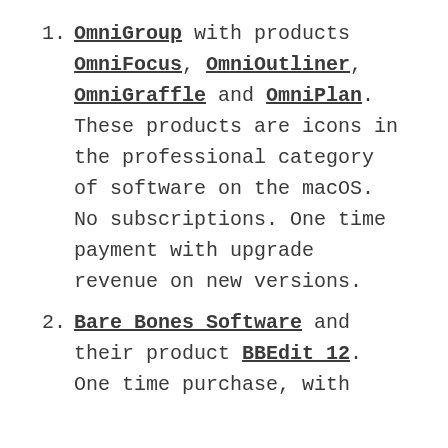OmniGroup with products OmniFocus, OmniOutliner, OmniGraffle and OmniPlan. These products are icons in the professional category of software on the macOS. No subscriptions. One time payment with upgrade revenue on new versions.
Bare Bones Software and their product BBEdit 12. One time purchase, with